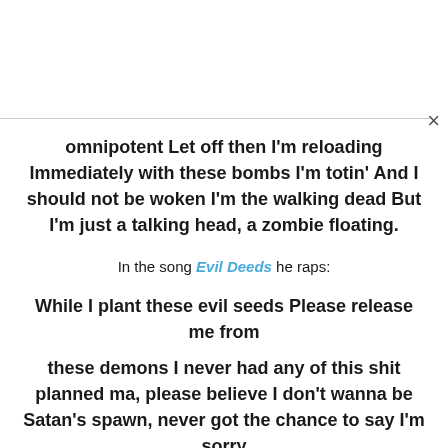omnipotent Let off then I'm reloading Immediately with these bombs I'm totin' And I should not be woken I'm the walking dead But I'm just a talking head, a zombie floating.
In the song Evil Deeds he raps:
While I plant these evil seeds Please release me from
these demons I never had any of this shit planned ma, please believe I don't wanna be Satan's spawn, never got the chance to say I'm sorry